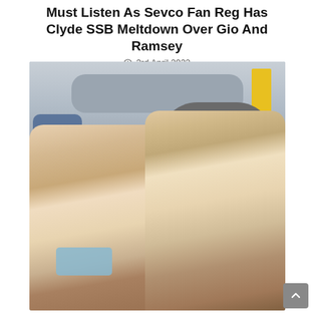Must Listen As Sevco Fan Reg Has Clyde SSB Meltdown Over Gio And Ramsey
3rd April 2022
[Figure (photo): Two men taking a selfie on an airplane. The man on the left has short brown hair and is wearing a lowered blue face mask around his neck. The man on the right is wearing a grey flat cap and smiling. A woman in blue is visible in the background.]